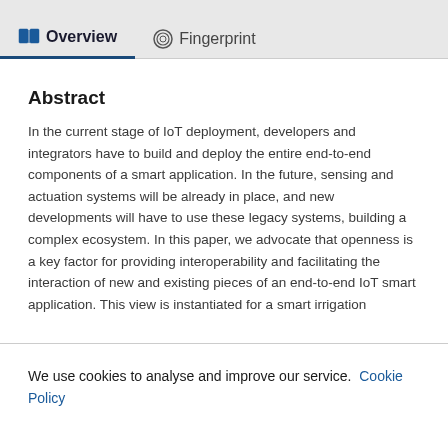Overview   Fingerprint
Abstract
In the current stage of IoT deployment, developers and integrators have to build and deploy the entire end-to-end components of a smart application. In the future, sensing and actuation systems will be already in place, and new developments will have to use these legacy systems, building a complex ecosystem. In this paper, we advocate that openness is a key factor for providing interoperability and facilitating the interaction of new and existing pieces of an end-to-end IoT smart application. This view is instantiated for a smart irrigation
We use cookies to analyse and improve our service. Cookie Policy